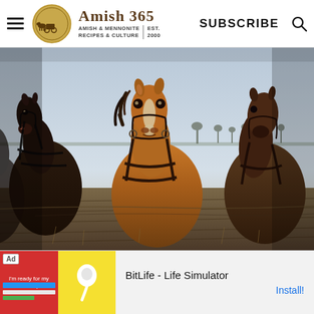Amish 365 — AMISH & MENNONITE RECIPES & CULTURE | EST. 2000 | SUBSCRIBE
[Figure (photo): Three draft horses in harness standing in a plowed field, facing the camera, with a pale winter sky behind them.]
[Figure (screenshot): Mobile advertisement for BitLife - Life Simulator app, showing the app icon and an Install button.]